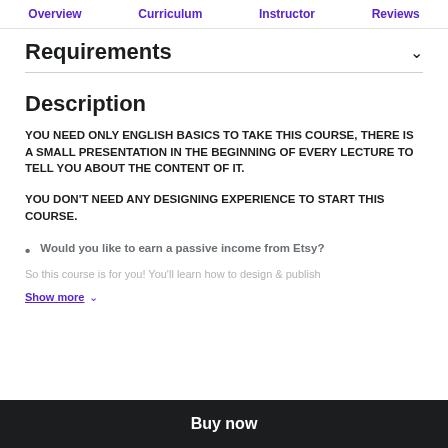Overview  Curriculum  Instructor  Reviews
Requirements
Description
YOU NEED ONLY ENGLISH BASICS TO TAKE THIS COURSE, THERE IS A SMALL PRESENTATION IN THE BEGINNING OF EVERY LECTURE TO TELL YOU ABOUT THE CONTENT OF IT.
YOU DON'T NEED ANY DESIGNING EXPERIENCE TO START THIS COURSE.
Would you like to earn a passive income from Etsy?
So this course is for you! You'll learn how to design & publish
Show more
Buy now